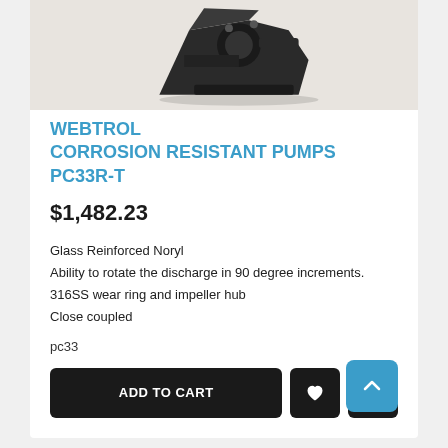[Figure (photo): Photo of Webtrol corrosion resistant pump PC33R-T, a dark-colored industrial pump fitting on a light background]
WEBTROL CORROSION RESISTANT PUMPS PC33R-T
$1,482.23
Glass Reinforced Noryl
Ability to rotate the discharge in 90 degree increments.
316SS wear ring and impeller hub
Close coupled
pc33